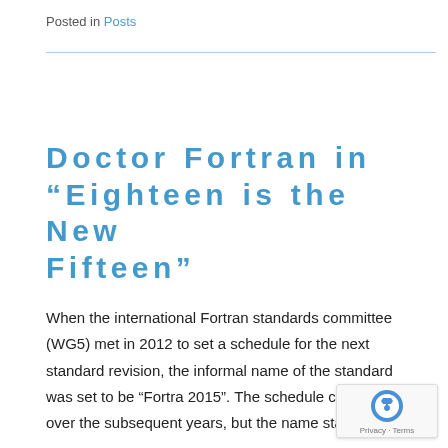Posted in Posts
Doctor Fortran in “Eighteen is the New Fifteen”
When the international Fortran standards committee (WG5) met in 2012 to set a schedule for the next standard revision, the informal name of the standard was set to be “Fortra 2015”. The schedule changed over the subsequent years, but the name stayed the